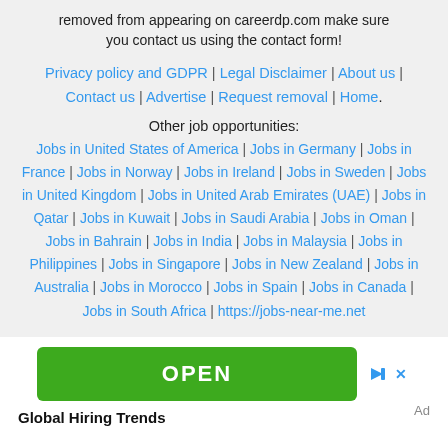removed from appearing on careerdp.com make sure you contact us using the contact form!
Privacy policy and GDPR | Legal Disclaimer | About us | Contact us | Advertise | Request removal | Home.
Other job opportunities:
Jobs in United States of America | Jobs in Germany | Jobs in France | Jobs in Norway | Jobs in Ireland | Jobs in Sweden | Jobs in United Kingdom | Jobs in United Arab Emirates (UAE) | Jobs in Qatar | Jobs in Kuwait | Jobs in Saudi Arabia | Jobs in Oman | Jobs in Bahrain | Jobs in India | Jobs in Malaysia | Jobs in Philippines | Jobs in Singapore | Jobs in New Zealand | Jobs in Australia | Jobs in Morocco | Jobs in Spain | Jobs in Canada | Jobs in South Africa | https://jobs-near-me.net
[Figure (other): Green OPEN button advertisement with play and close icons, labeled Global Hiring Trends]
Global Hiring Trends
Ad